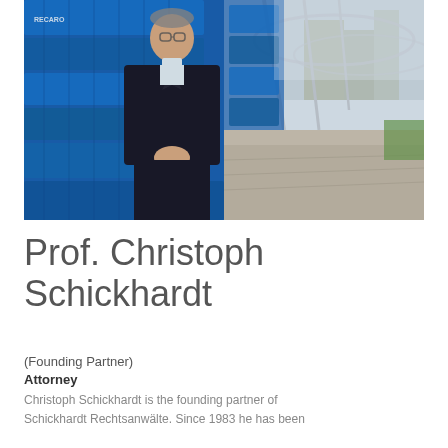[Figure (photo): Professional photo of Prof. Christoph Schickhardt seated in blue stadium seats, wearing a dark suit, smiling, with a row of blue seats and a covered stadium walkway visible in the background.]
Prof. Christoph Schickhardt
(Founding Partner)
Attorney
Christoph Schickhardt is the founding partner of Schickhardt Rechtsanwälte. Since 1983 he has been